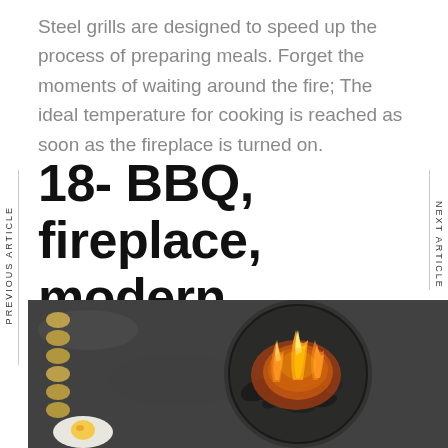Steel grills are designed to speed up the process of preparing meals. Forget the moments of waiting around the fire; The ideal temperature for cooking is reached as soon as the fireplace is turned on.
18- BBQ, fireplace, modern
[Figure (photo): A photo showing BBQ food items including eggs, potatoes, and burning charcoal/fire in a round grill pan on a dark stone surface.]